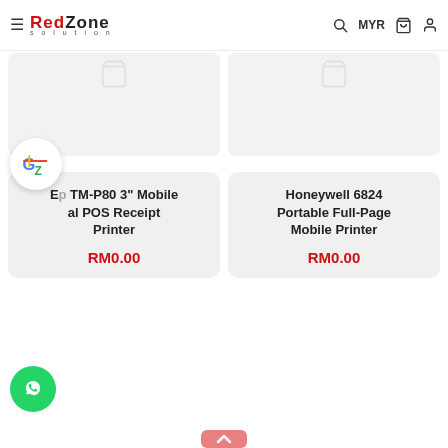RedZone Solution — MYR navigation header
[Figure (screenshot): Two partially visible product cards at the top with placeholder cart icons on a light gray background]
Ep... TM-P80 3" Mobile al POS Receipt Printer
RM0.00
Honeywell 6824 Portable Full-Page Mobile Printer
RM0.00
[Figure (logo): Google Translate floating overlay icon]
[Figure (logo): WhatsApp floating action button (green circle with phone handset icon)]
[Figure (other): Partial scroll-to-top pink/salmon button at the very bottom center]